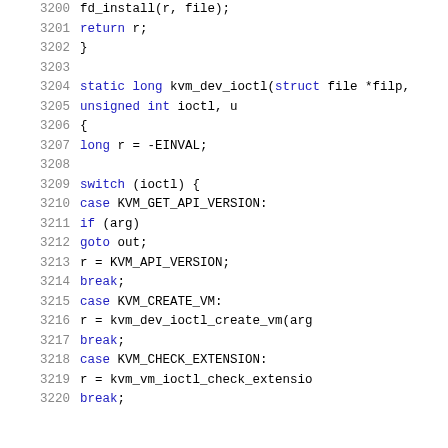3200    fd_install(r, file);
3201    return r;
3202  }
3203
3204  static long kvm_dev_ioctl(struct file *filp,
3205                            unsigned int ioctl, u
3206  {
3207        long r = -EINVAL;
3208
3209        switch (ioctl) {
3210        case KVM_GET_API_VERSION:
3211              if (arg)
3212                    goto out;
3213              r = KVM_API_VERSION;
3214              break;
3215        case KVM_CREATE_VM:
3216              r = kvm_dev_ioctl_create_vm(arg
3217              break;
3218        case KVM_CHECK_EXTENSION:
3219              r = kvm_vm_ioctl_check_extensio
3220              break;